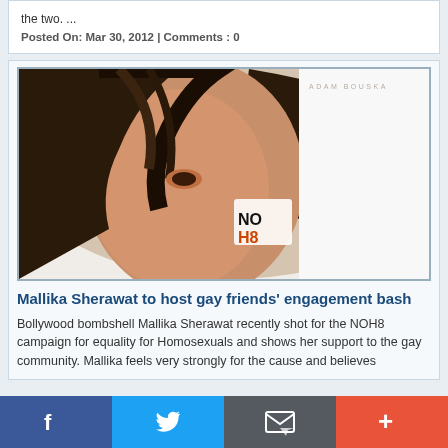the two. ...
Posted On: Mar 30, 2012 | Comments : 0
[Figure (photo): Bollywood actress Mallika Sherawat with NOH8 campaign makeup stamp on her cheek, with flowing dark hair against a white background. Watermark reads ADAM BOUSKA.]
Mallika Sherawat to host gay friends' engagement bash
Bollywood bombshell Mallika Sherawat recently shot for the NOH8 campaign for equality for Homosexuals and shows her support to the gay community. Mallika feels very strongly for the cause and believes